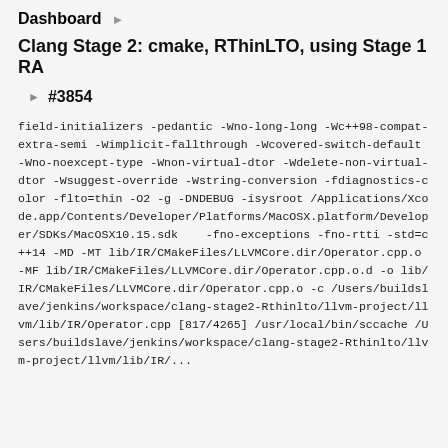Dashboard ▶
Clang Stage 2: cmake, RThinLTO, using Stage 1 RA
#3854
field-initializers -pedantic -Wno-long-long -Wc++98-compat-extra-semi -Wimplicit-fallthrough -Wcovered-switch-default -Wno-noexcept-type -Wnon-virtual-dtor -Wdelete-non-virtual-dtor -Wsuggest-override -Wstring-conversion -fdiagnostics-color -flto=thin -O2 -g -DNDEBUG -isysroot /Applications/Xcode.app/Contents/Developer/Platforms/MacOSX.platform/Developer/SDKs/MacOSX10.15.sdk -fno-exceptions -fno-rtti -std=c++14 -MD -MT lib/IR/CMakeFiles/LLVMCore.dir/Operator.cpp.o -MF lib/IR/CMakeFiles/LLVMCore.dir/Operator.cpp.o.d -o lib/IR/CMakeFiles/LLVMCore.dir/Operator.cpp.o -c /Users/buildslave/jenkins/workspace/clang-stage2-Rthinlto/llvm-project/llvm/lib/IR/Operator.cpp [817/4265] /usr/local/bin/sccache /Users/buildslave/jenkins/workspace/clang-stage2-Rthinlto/llvm-project/llvm/lib/IR/...